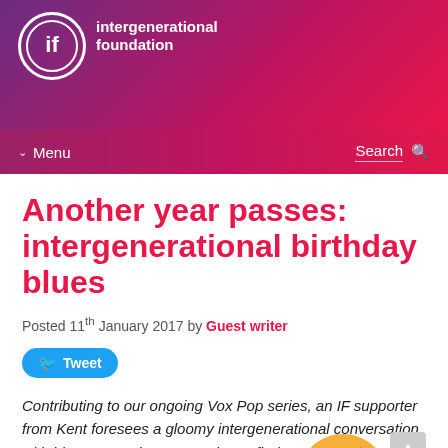[Figure (logo): Intergenerational Foundation logo: circular IF logo with text 'intergenerational foundation' in white on gradient purple-to-pink background header]
Menu   Search
Another year passes: intergenerational birthday blues
Posted 11th January 2017 by Guest writer
Tweet
Contributing to our ongoing Vox Pop series, an IF supporter from Kent foresees a gloomy intergenerational conversation with his sons, and cannot – alas! – find reasons to be more optimistic
This weekend my